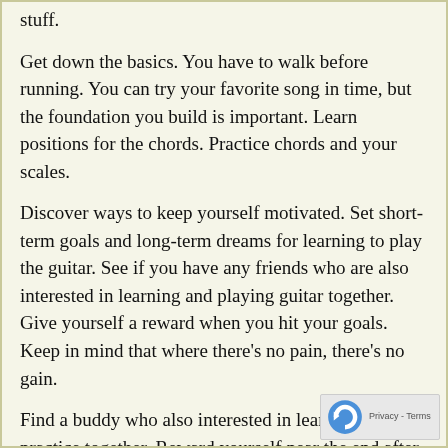stuff.
Get down the basics. You have to walk before running. You can try your favorite song in time, but the foundation you build is important. Learn positions for the chords. Practice chords and your scales.
Discover ways to keep yourself motivated. Set short-term goals and long-term dreams for learning to play the guitar. See if you have any friends who are also interested in learning and playing guitar together. Give yourself a reward when you hit your goals. Keep in mind that where there's no pain, there's no gain.
Find a buddy who also interested in learning and practice together. Reward yourself near the end after successful daily practices. Keep in mind that real skill takes work.
It is best for you to learn guitar tabs and musical notation. Musical theory will help you to understand the scales and the various chords operate. Learn the note name of each